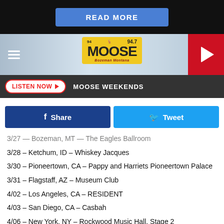[Figure (screenshot): READ MORE button — blue rectangular button on black background]
[Figure (logo): 94.7 Moose FM Bozeman Montana radio station header banner with logo, hamburger menu, and play button]
[Figure (screenshot): LISTEN NOW button and MOOSE WEEKENDS text in dark navigation bar]
[Figure (screenshot): Facebook Share and Twitter Tweet social buttons]
3/27 — Bozeman, MT — The Eagles Ballroom
3/28 — Ketchum, ID — Whiskey Jacques
3/30 — Pioneertown, CA — Pappy and Harriets Pioneertown Palace
3/31 — Flagstaff, AZ — Museum Club
4/02 — Los Angeles, CA — RESIDENT
4/03 — San Diego, CA — Casbah
4/06 — New York, NY — Rockwood Music Hall, Stage 2
4/09 — Nashville, TN — The High Watt